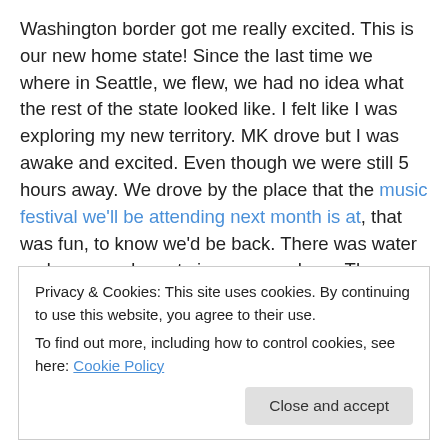Washington border got me really excited. This is our new home state! Since the last time we where in Seattle, we flew, we had no idea what the rest of the state looked like. I felt like I was exploring my new territory. MK drove but I was awake and excited. Even though we were still 5 hours away. We drove by the place that the music festival we'll be attending next month is at, that was fun, to know we'd be back. There was water and snow and great views everywhere. There are tons and tons of vineyards in the Yakima Valley, where we drove up through, and that got me excited. I've never had any WA wine, but I will!
Privacy & Cookies: This site uses cookies. By continuing to use this website, you agree to their use.
To find out more, including how to control cookies, see here: Cookie Policy